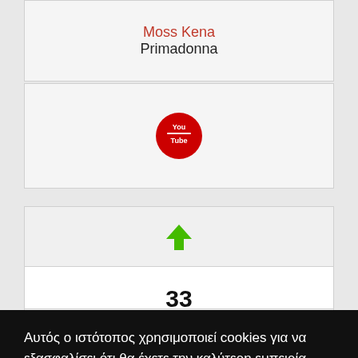Moss Kena
Primadonna
[Figure (logo): YouTube red circle logo icon]
[Figure (other): Green upward arrow icon]
33
Αυτός ο ιστότοπος χρησιμοποιεί cookies για να εξασφαλίσει ότι θα έχετε την καλύτερη εμπειρία.  Μάθετε περισσότερα εδώ
ΔΕΧΟΜΑΙ
[Figure (other): Green upward arrow icon at bottom]